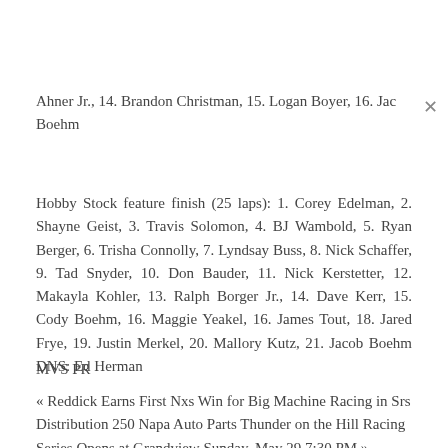Ahner Jr., 14. Brandon Christman, 15. Logan Boyer, 16. Jac[k] Boehm
Hobby Stock feature finish (25 laps): 1. Corey Edelman, 2. Shayne Geist, 3. Travis Solomon, 4. BJ Wambold, 5. Ryan Berger, 6. Trisha Connolly, 7. Lyndsay Buss, 8. Nick Schaffer, 9. Tad Snyder, 10. Don Bauder, 11. Nick Kerstetter, 12. Makayla Kohler, 13. Ralph Borger Jr., 14. Dave Kerr, 15. Cody Boehm, 16. Maggie Yeakel, 16. James Tout, 18. Jared Frye, 19. Justin Merkel, 20. Mallory Kutz, 21. Jacob Boehm DNS: Ed Herman
MVS PR
« Reddick Earns First Nxs Win for Big Machine Racing in Srs Distribution 250 Napa Auto Parts Thunder on the Hill Racing Series Opens at Grandview Sunday, May 29 7:30 PM »